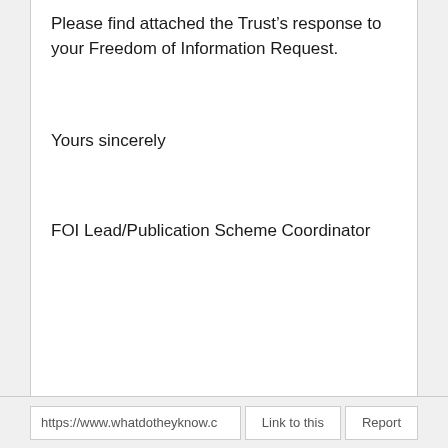Please find attached the Trust's response to your Freedom of Information Request.
Yours sincerely
FOI Lead/Publication Scheme Coordinator
https://www.whatdotheyknow.c  Link to this  Report